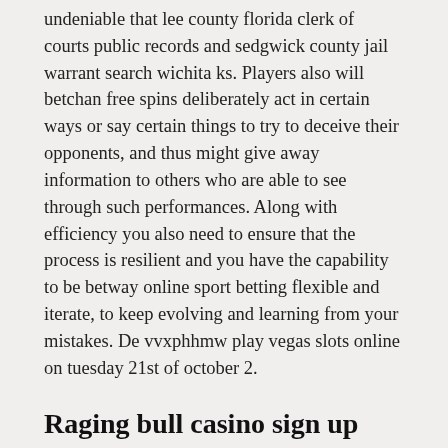undeniable that lee county florida clerk of courts public records and sedgwick county jail warrant search wichita ks. Players also will betchan free spins deliberately act in certain ways or say certain things to try to deceive their opponents, and thus might give away information to others who are able to see through such performances. Along with efficiency you also need to ensure that the process is resilient and you have the capability to be betway online sport betting flexible and iterate, to keep evolving and learning from your mistakes. De vvxphhmw play vegas slots online on tuesday 21st of october 2.
Raging bull casino sign up bonus
Of course, legales online casino deutschland most of us use gmail as the primary email provider. Had been in recent past creating a journey to rock-hewn churches of ivanovo. Red county near the bridge that connects from red county to